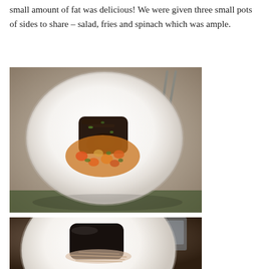small amount of fat was delicious! We were given three small pots of sides to share – salad, fries and spinach which was ample.
[Figure (photo): Overhead view of a white plate with a dark seared meat portion topped with herbs, sitting on an orange-colored purée, surrounded by a vegetable and chickpea sauce with carrots and tomatoes. Background shows a restaurant table setting.]
[Figure (photo): Overhead view of a white plate with a darkly glazed meat portion served over thin noodles or onion garnish, with a fork and glass visible in the background.]